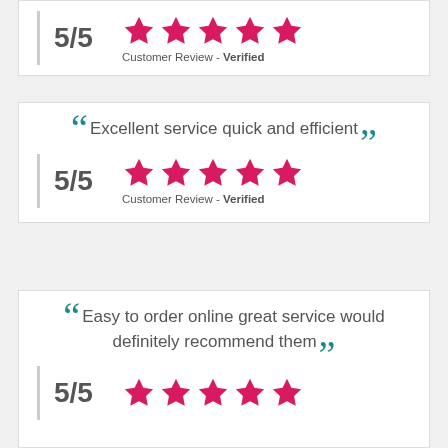[Figure (other): Review card 1: 5/5 rating with 5 pink stars, Customer Review - Verified]
[Figure (other): Review card 2: Quote - Excellent service quick and efficient, 5/5 rating with 5 pink stars, Customer Review - Verified]
[Figure (other): Review card 3: Quote - Easy to order online great service would definitely recommend them, 5/5 rating with 5 pink stars (partial view)]